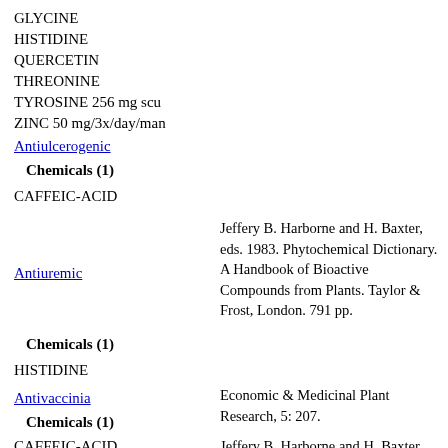GLYCINE
HISTIDINE
QUERCETIN
THREONINE
TYROSINE 256 mg scu
ZINC 50 mg/3x/day/man
Antiulcerogenic
Chemicals (1)
CAFFEIC-ACID
Antiuremic
Jeffery B. Harborne and H. Baxter, eds. 1983. Phytochemical Dictionary. A Handbook of Bioactive Compounds from Plants. Taylor & Frost, London. 791 pp.
Chemicals (1)
HISTIDINE
Antivaccinia
Economic & Medicinal Plant Research, 5: 207.
Chemicals (1)
CAFFEIC-ACID
Jeffery B. Harborne and H. Baxter, eds.